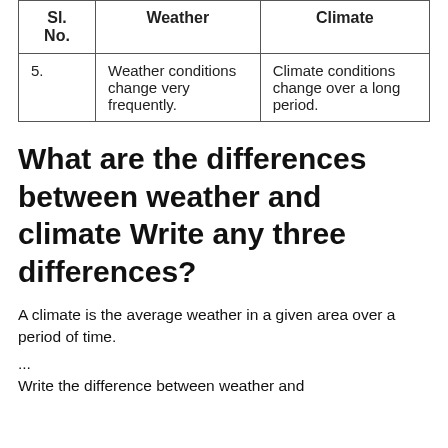| Sl. No. | Weather | Climate |
| --- | --- | --- |
| 5. | Weather conditions change very frequently. | Climate conditions change over a long period. |
What are the differences between weather and climate Write any three differences?
A climate is the average weather in a given area over a period of time.
...
Write the difference between weather and